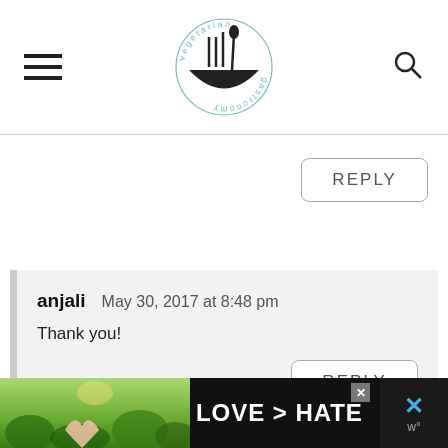[Figure (logo): Vegetarian Gastronomy circular logo with fork and bowl illustration and text around the perimeter]
REPLY
anjali   May 30, 2017 at 8:48 pm
Thank you!
REPLY
[Figure (photo): Advertisement banner showing hands making a heart shape with text LOVE > HATE on dark background]